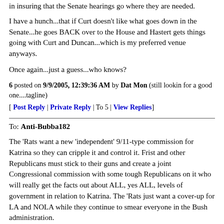in insuring that the Senate hearings go where they are needed.
I have a hunch...that if Curt doesn't like what goes down in the Senate...he goes BACK over to the House and Hastert gets things going with Curt and Duncan...which is my preferred venue anyways.
Once again...just a guess...who knows?
6 posted on 9/9/2005, 12:39:36 AM by Dat Mon (still lookin for a good one....tagline)
[ Post Reply | Private Reply | To 5 | View Replies]
To: Anti-Bubba182
The 'Rats want a new 'independent' 9/11-type commission for Katrina so they can cripple it and control it. Frist and other Republicans must stick to their guns and create a joint Congressional commission with some tough Republicans on it who will really get the facts out about ALL, yes ALL, levels of government in relation to Katrina. The 'Rats just want a cover-up for LA and NOLA while they continue to smear everyone in the Bush administration.